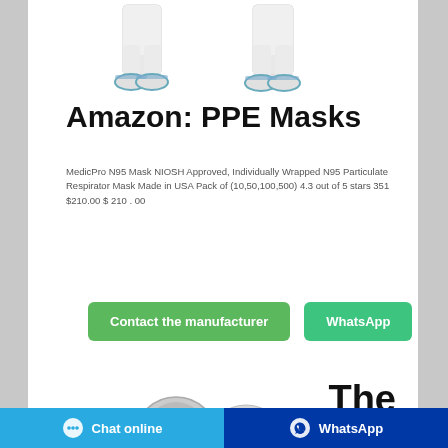[Figure (photo): Two white protective hazmat suits with blue shoe covers shown from the lower body/legs down]
Amazon: PPE Masks
MedicPro N95 Mask NIOSH Approved, Individually Wrapped N95 Particulate Respirator Mask Made in USA Pack of (10,50,100,500) 4.3 out of 5 stars 351 $210.00 $ 210 . 00
[Figure (screenshot): Contact the manufacturer button (green) and WhatsApp button (green) with a cyan chat bubble icon button]
[Figure (photo): Two N95 mask product images partially visible at bottom of page, and the text 'The' partially visible]
Chat online   WhatsApp